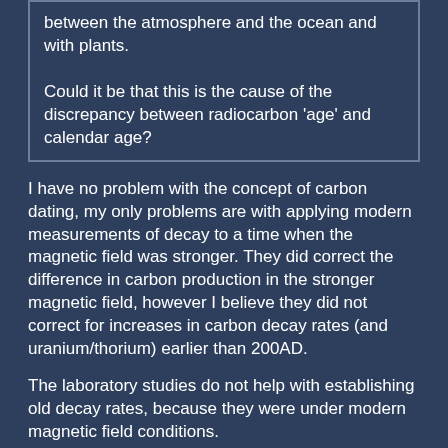between the atmosphere and the ocean and with plants.

Could it be that this is the cause of the discrepancy between radiocarbon 'age' and calendar age?
I have no problem with the concept of carbon dating, my only problems are with applying modern measurements of decay to a time when the magnetic field was stronger. They did correct the difference in carbon production in the stronger magnetic field, however I believe they did not correct for increases in carbon decay rates (and uranium/thorium) earlier than 200AD.
The laboratory studies do not help with establishing old decay rates, because they were under modern magnetic field conditions.
Questioned in 1967 ... and answered in the '80's and '90's ... ... why do creationists hold old discarded ideas with